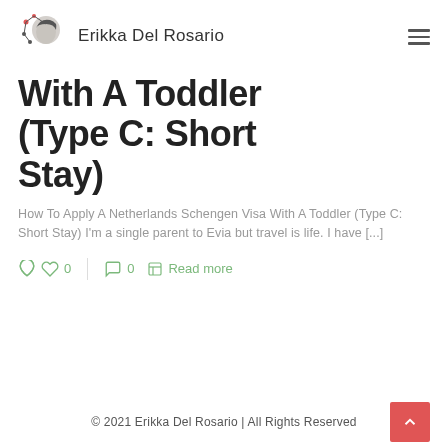Erikka Del Rosario
With A Toddler (Type C: Short Stay)
How To Apply A Netherlands Schengen Visa With A Toddler (Type C: Short Stay) I'm a single parent to Evia but travel is life. I have [...]
0  0  Read more
© 2021 Erikka Del Rosario | All Rights Reserved